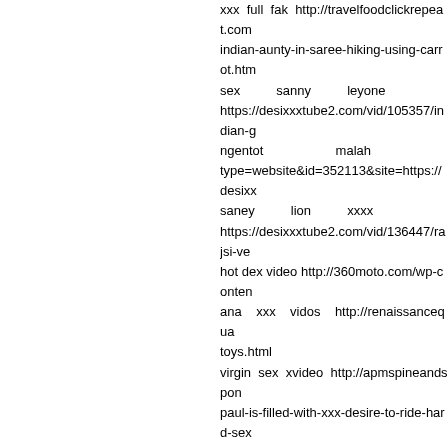xxx full fak http://travelfoodclickrepeat.com indian-aunty-in-saree-hiking-using-carrot.htm sex sanny leyone https://desixxxtube2.com/vid/105357/indian-g ngentot malah type=website&id=352113&site=https://desixx saney lion xxxx https://desixxxtube2.com/vid/136447/rajsi-ve hot dex video http://360moto.com/wp-conten ana xxx vidos http://renaissancequa toys.html virgin sex xvideo http://apmspineandspon paul-is-filled-with-xxx-desire-to-ride-hard-sex b f filim http://purehappylife.com/site/wp-cont grupal swingers sex http://dulichhoangnam time.html xxx red in http://goodpress.kr/banner.php?ur unduh bokep jernih http://pivgrad.su/bitrix/rk. desi chut sucking http://aeromaintenance tution-teacher-at-private-room.html suhagrat bf xxx http://havazona.com/si tight.html suny leone sexi http://cottageartcreations.co xnxl sexy video http://mydadshotfrien hidden-cam-video.html bf fucking hard http://alpekpoliester.org/__n hindi-flizmovies.html